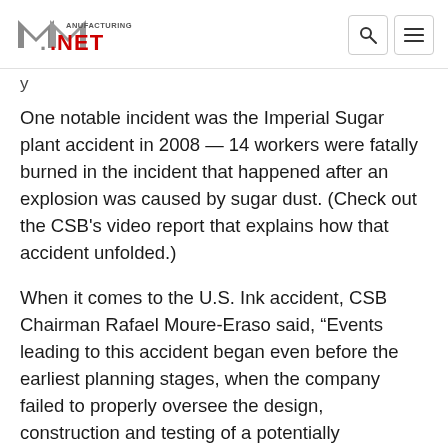Manufacturing.net
One notable incident was the Imperial Sugar plant accident in 2008 — 14 workers were fatally burned in the incident that happened after an explosion was caused by sugar dust. (Check out the CSB's video report that explains how that accident unfolded.)
When it comes to the U.S. Ink accident, CSB Chairman Rafael Moure-Eraso said, “Events leading to this accident began even before the earliest planning stages, when the company failed to properly oversee the design, construction and testing of a potentially hazardous system. The victims have suffered the consequences. We hope